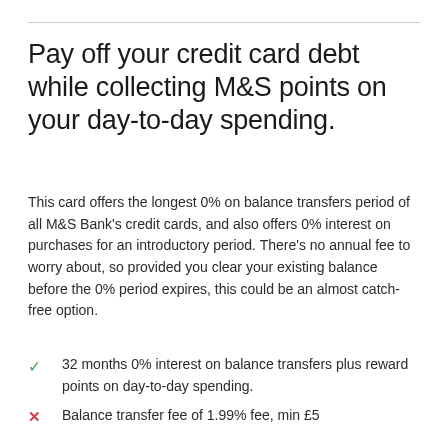Pay off your credit card debt while collecting M&S points on your day-to-day spending.
This card offers the longest 0% on balance transfers period of all M&S Bank's credit cards, and also offers 0% interest on purchases for an introductory period. There's no annual fee to worry about, so provided you clear your existing balance before the 0% period expires, this could be an almost catch-free option.
32 months 0% interest on balance transfers plus reward points on day-to-day spending.
Balance transfer fee of 1.99% fee, min £5